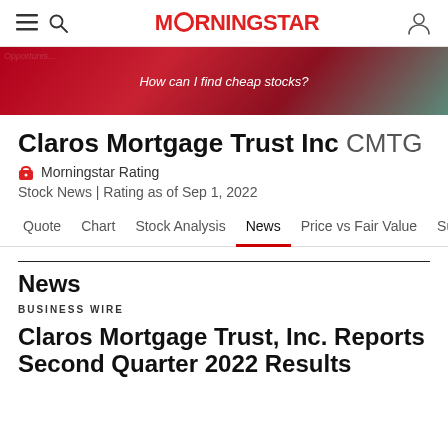Morningstar
[Figure (illustration): Morningstar promotional ad banner with dark red gradient background and text 'How can I find cheap stocks?']
Claros Mortgage Trust Inc CMTG
🔒 Morningstar Rating
Stock News | Rating as of Sep 1, 2022
Quote  Chart  Stock Analysis  News  Price vs Fair Value  Sustai  >
News
BUSINESS WIRE
Claros Mortgage Trust, Inc. Reports Second Quarter 2022 Results